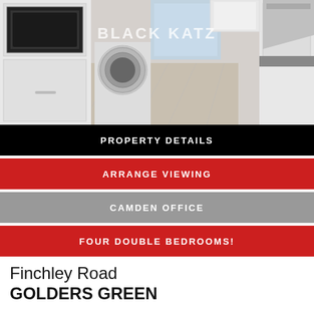[Figure (photo): Interior photo of a modern white kitchen with built-in oven, washing machine, and extractor fan. Watermark reads BLACK KATZ.]
PROPERTY DETAILS
ARRANGE VIEWING
CAMDEN OFFICE
FOUR DOUBLE BEDROOMS!
Finchley Road
GOLDERS GREEN
£775pw (£3358pcm)
4 Bedroom Flat